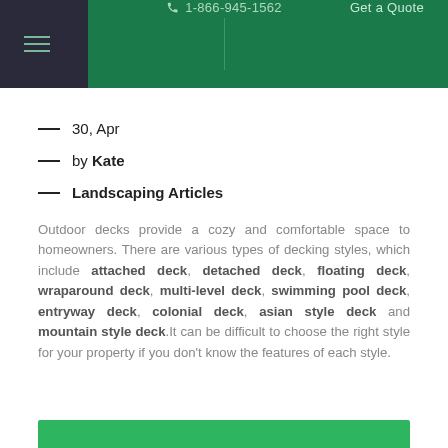1-866-945-1562  Get a Quote
30, Apr
by Kate
Landscaping Articles
Outdoor decks provide a cozy and comfortable space to homeowners. There are various types of decking styles, which include attached deck, detached deck, floating deck, wraparound deck, multi-level deck, swimming pool deck, entryway deck, colonial deck, asian style deck and mountain style deck.It can be difficult to choose the right style for your property if you don't know the features of each style.